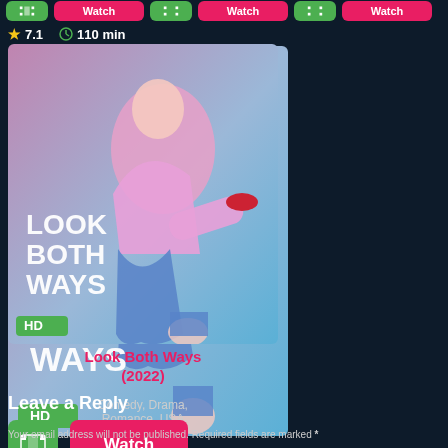[Figure (screenshot): Top navigation bar with green film icon buttons and red Watch buttons partially visible at top of page]
[Figure (photo): Movie poster for 'Look Both Ways' showing a woman in pink outfit, with LOOK BOTH WAYS text, HD badge, rating 7.1 stars, 110 min duration]
Look Both Ways (2022)
Comedy, Drama, Romance, USA
[Figure (screenshot): Green film icon button and red Watch button]
Leave a Reply
Your email address will not be published. Required fields are marked *